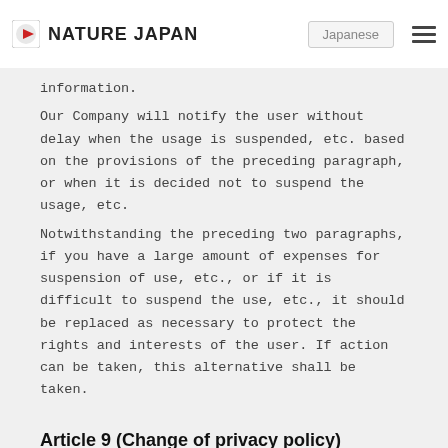NATURE JAPAN  Japanese
information.
Our Company will notify the user without delay when the usage is suspended, etc. based on the provisions of the preceding paragraph, or when it is decided not to suspend the usage, etc.
Notwithstanding the preceding two paragraphs, if you have a large amount of expenses for suspension of use, etc., or if it is difficult to suspend the use, etc., it should be replaced as necessary to protect the rights and interests of the user. If action can be taken, this alternative shall be taken.
Article 9 (Change of privacy policy)
The contents of this policy can be changed without notifying the user, except for laws and